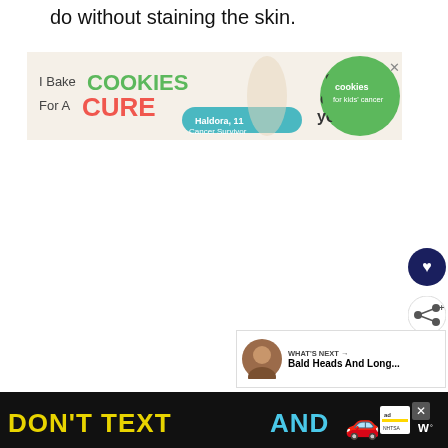do without staining the skin.
[Figure (screenshot): Advertisement banner: 'I Bake COOKIES For A CURE' with image of a girl holding cookies, text 'Haldora, 11 Cancer Survivor', 'So can you!' and Cookies for Kids' Cancer logo]
[Figure (screenshot): Dark navy circular button with white heart icon (favorite/like button)]
[Figure (screenshot): White circular button with share/network icon]
[Figure (screenshot): WHAT'S NEXT panel with man avatar and text 'Bald Heads And Long...']
[Figure (screenshot): Bottom advertisement banner on black background: 'DON'T TEXT AND' with car emoji, NHTSA ad label, and weather.com logo]